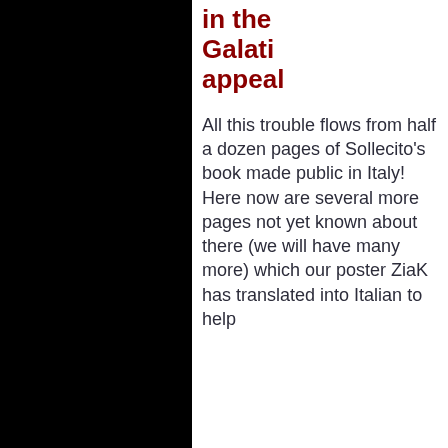in the Galati appeal
All this trouble flows from half a dozen pages of Sollecito’s book made public in Italy!  Here now are several more pages not yet known about there (we will have many more) which our poster ZiaK has translated into Italian to help